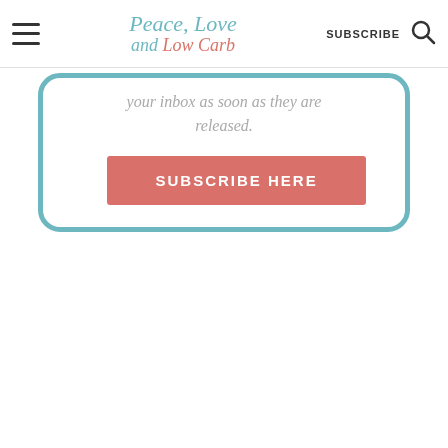Peace, Love and Low Carb | SUBSCRIBE
your inbox as soon as they are released.
[Figure (other): Subscribe Here button - a coral/salmon colored rectangle button with white uppercase text reading SUBSCRIBE HERE]